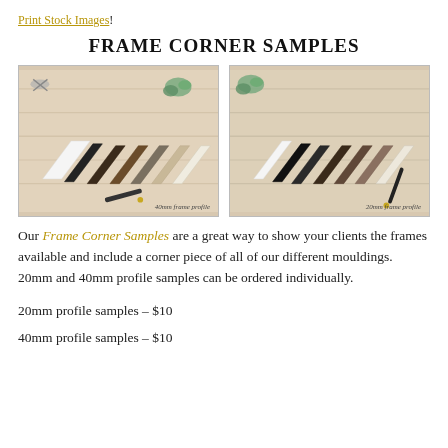Print Stock Images!
FRAME CORNER SAMPLES
[Figure (photo): Two photos of frame corner samples arranged in a chevron pattern on a wooden surface. Left photo shows 40mm frame profile samples in various wood and dark finishes. Right photo shows 20mm frame profile samples in similar styles.]
Our Frame Corner Samples are a great way to show your clients the frames available and include a corner piece of all of our different mouldings.  20mm and 40mm profile samples can be ordered individually.
20mm profile samples – $10
40mm profile samples – $10